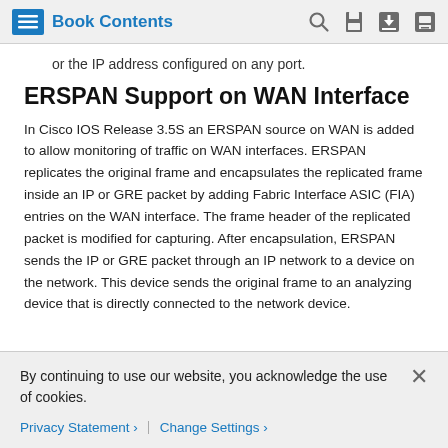Book Contents
or the IP address configured on any port.
ERSPAN Support on WAN Interface
In Cisco IOS Release 3.5S an ERSPAN source on WAN is added to allow monitoring of traffic on WAN interfaces. ERSPAN replicates the original frame and encapsulates the replicated frame inside an IP or GRE packet by adding Fabric Interface ASIC (FIA) entries on the WAN interface. The frame header of the replicated packet is modified for capturing. After encapsulation, ERSPAN sends the IP or GRE packet through an IP network to a device on the network. This device sends the original frame to an analyzing device that is directly connected to the network device.
By continuing to use our website, you acknowledge the use of cookies.
Privacy Statement > Change Settings >